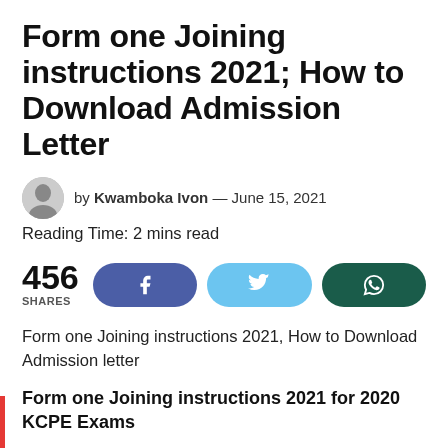Form one Joining instructions 2021; How to Download Admission Letter
by Kwamboka Ivon — June 15, 2021
Reading Time: 2 mins read
456 SHARES
Form one Joining instructions 2021, How to Download Admission letter
Form one Joining instructions 2021 for 2020 KCPE Exams
The 2021 form one admission letter is a mandatory document that you must produce during the